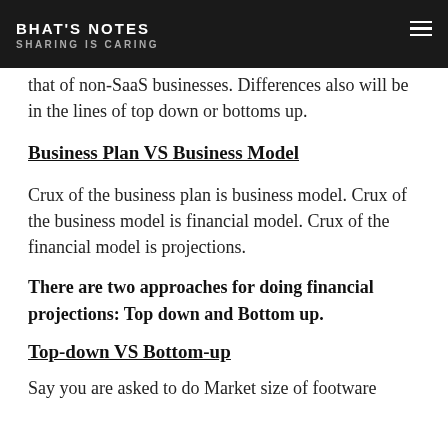BHAT'S NOTES | SHARING IS CARING
that of non-SaaS businesses. Differences also will be in the lines of top down or bottoms up.
Business Plan VS Business Model
Crux of the business plan is business model. Crux of the business model is financial model. Crux of the financial model is projections.
There are two approaches for doing financial projections: Top down and Bottom up.
Top-down VS Bottom-up
Say you are asked to do Market size of footware